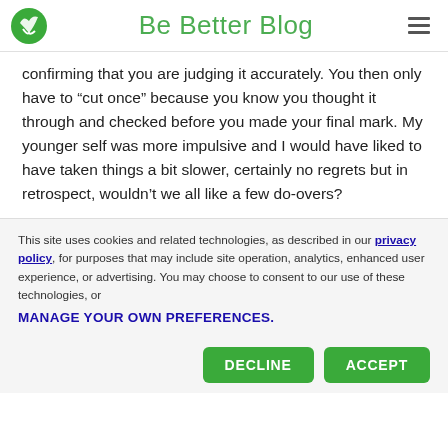Be Better Blog
confirming that you are judging it accurately. You then only have to “cut once” because you know you thought it through and checked before you made your final mark. My younger self was more impulsive and I would have liked to have taken things a bit slower, certainly no regrets but in retrospect, wouldn’t we all like a few do-overs?
This site uses cookies and related technologies, as described in our privacy policy, for purposes that may include site operation, analytics, enhanced user experience, or advertising. You may choose to consent to our use of these technologies, or MANAGE YOUR OWN PREFERENCES.